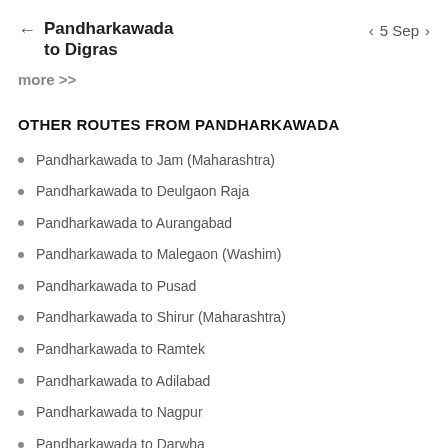Pandharkawada to Digras
more >>
OTHER ROUTES FROM PANDHARKAWADA
Pandharkawada to Jam (Maharashtra)
Pandharkawada to Deulgaon Raja
Pandharkawada to Aurangabad
Pandharkawada to Malegaon (Washim)
Pandharkawada to Pusad
Pandharkawada to Shirur (Maharashtra)
Pandharkawada to Ramtek
Pandharkawada to Adilabad
Pandharkawada to Nagpur
Pandharkawada to Darwha